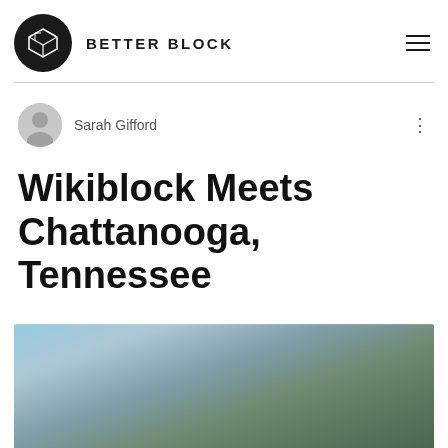BETTER BLOCK
Sarah Gifford
Wikiblock Meets Chattanooga, Tennessee
[Figure (photo): Blurred outdoor landscape photo showing sky and trees/greenery, used as hero image for the blog post]